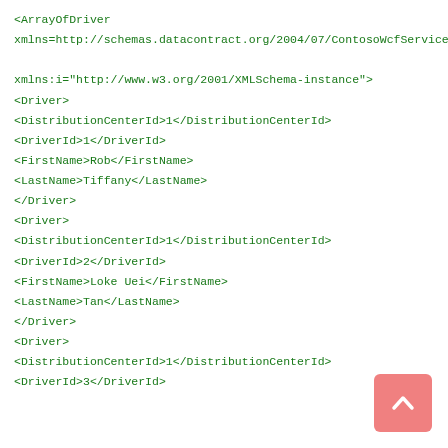<ArrayOfDriver xmlns=http://schemas.datacontract.org/2004/07/ContosoWcfService.Models

xmlns:i="http://www.w3.org/2001/XMLSchema-instance">
<Driver>
<DistributionCenterId>1</DistributionCenterId>
<DriverId>1</DriverId>
<FirstName>Rob</FirstName>
<LastName>Tiffany</LastName>
</Driver>
<Driver>
<DistributionCenterId>1</DistributionCenterId>
<DriverId>2</DriverId>
<FirstName>Loke Uei</FirstName>
<LastName>Tan</LastName>
</Driver>
<Driver>
<DistributionCenterId>1</DistributionCenterId>
<DriverId>3</DriverId>